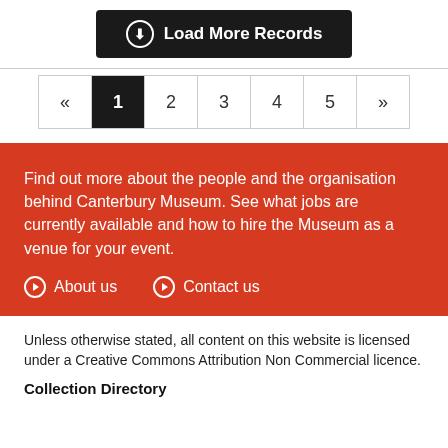Load More Records
« 1 2 3 4 5 »
Find out more about the people and the organisation behind Canterbury Museum. See what jobs are currently available and how to hire the Museum as a venue for your event.
About us
Contact us
Unless otherwise stated, all content on this website is licensed under a Creative Commons Attribution Non Commercial licence.
Collection Directory